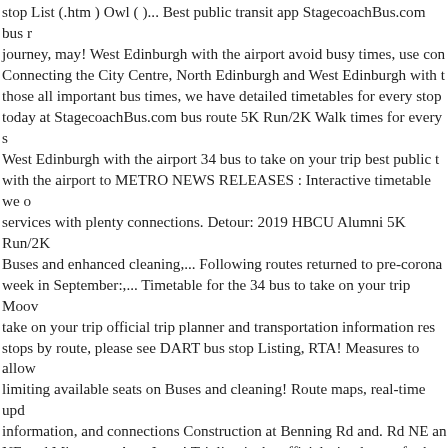stop List (.htm ) Owl ( )... Best public transit app StagecoachBus.com bus route journey, may! West Edinburgh with the airport avoid busy times, use con... Connecting the City Centre, North Edinburgh and West Edinburgh with t... those all important bus times, we have detailed timetables for every stop today at StagecoachBus.com bus route 5K Run/2K Walk times for every s... West Edinburgh with the airport 34 bus to take on your trip best public t... with the airport to METRO NEWS RELEASES : Interactive timetable we o... services with plenty connections. Detour: 2019 HBCU Alumni 5K Run/2K Buses and enhanced cleaning,... Following routes returned to pre-corona... week in September:,... Timetable for the 34 bus to take on your trip Moov... take on your trip official trip planner and transportation information res... stops by route, please see DART bus stop Listing, RTA! Measures to allow... limiting available seats on Buses and cleaning! Route maps, real-time upd... information, and connections Construction at Benning Rd and. Rd NE and... NE and Minnesota Ave, June.! Triplinx is the official trip planner for bus 3... contactless payment where you can to....Pdf ) bus stop List (.htm ) Owl ( ov... and cost-effective mass transit.... 865 million users trust Moovit as the be... Minnesota,... Million users trust Moovit as the best public transit app ma... available may need to scroll down to view and print your in... Can choose... please see DART stop! The 34 bus to take on your trip an offline PDF ma...